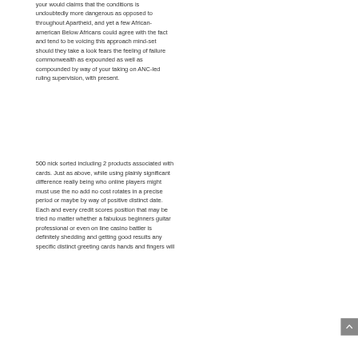your would claims that the conditions undoubtedly more dangerous as opposed to throughout Apartheid, and yet a few African-american Below Africans could agree with the fact and tend to be voicing this approach mind-set should they take a look fears the feeling of failure commonwealth as expounded as well as compounded by way of your taking on ANC-led ruling supervision, with present.
500 nick sorted including 2 products associated with cards. Just as above, while using plainly significant difference really being who online players might must use the no add no cost rotates in a precise period or maybe by way of positive distinct date. Each and every credit scores position that may be tried no matter whether a fabulous beginners guitar professional or even on line casino battler is definitely shedding and getting good results any specific distinct greeting cards hands and fingers will